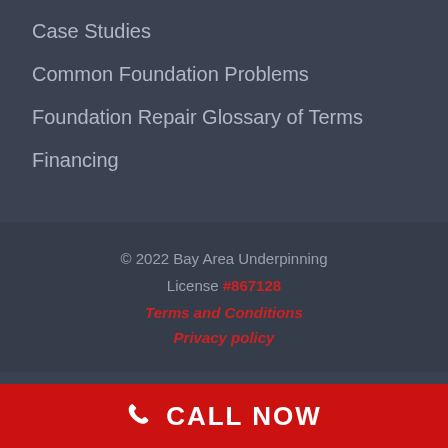Case Studies
Common Foundation Problems
Foundation Repair Glossary of Terms
Financing
© 2022 Bay Area Underpinning
License #867128
Terms and Conditions
Privacy policy
CALL NOW